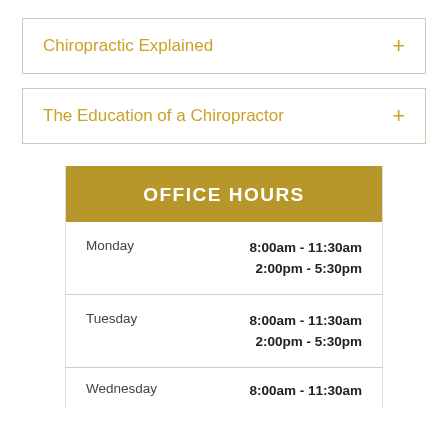Chiropractic Explained
The Education of a Chiropractor
| OFFICE HOURS |  |
| --- | --- |
| Monday | 8:00am - 11:30am
2:00pm - 5:30pm |
| Tuesday | 8:00am - 11:30am
2:00pm - 5:30pm |
| Wednesday | 8:00am - 11:30am |